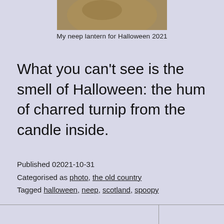[Figure (photo): A neep (turnip) lantern for Halloween 2021, shown from above, partially cropped at the top of the page.]
My neep lantern for Halloween 2021
What you can't see is the smell of Halloween: the hum of charred turnip from the candle inside.
Published 02021-10-31
Categorised as photo, the old country
Tagged halloween, neep, scotland, spoopy